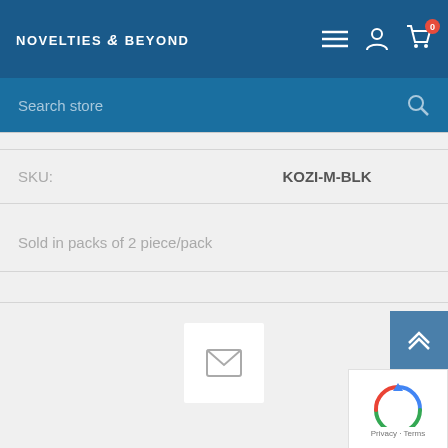NOVELTIES & BEYOND
Search store
| SKU: | KOZI-M-BLK |
| --- | --- |
Sold in packs of 2 piece/pack
[Figure (screenshot): Email envelope icon button]
Privacy - Terms